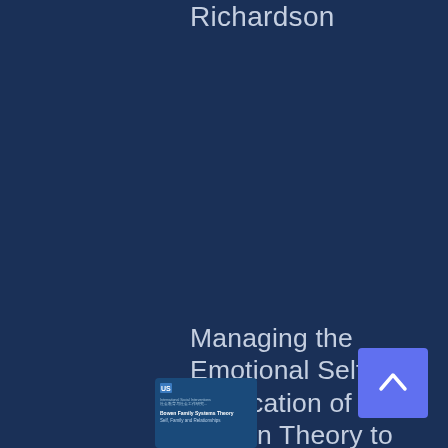Richardson
Managing the Emotional Self and Application of Bowen Theory to the Treatment of
[Figure (illustration): Small thumbnail of a book cover with a blue background, showing a logo and text 'Bowen Family Systems Theory Self, Family and Relationships']
[Figure (other): Blue scroll-to-top button with upward chevron arrow icon]